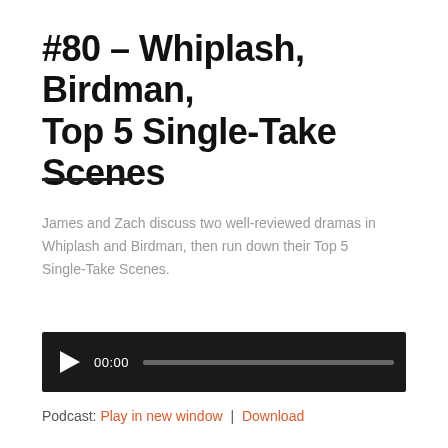#80 – Whiplash, Birdman, Top 5 Single-Take Scenes
James and Zach discuss two well-reviewed dramas in Whiplash and Birdman, then run down their Top 5 Single-Take Scenes.
[Figure (other): Audio player widget with play button, timestamp 00:00, and progress bar on dark background]
Podcast: Play in new window | Download